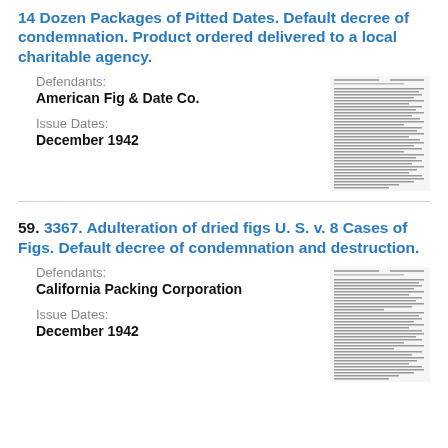14 Dozen Packages of Pitted Dates. Default decree of condemnation. Product ordered delivered to a local charitable agency.
Defendants:
American Fig & Date Co.
Issue Dates:
December 1942
[Figure (screenshot): Thumbnail image of a legal document]
59. 3367. Adulteration of dried figs U. S. v. 8 Cases of Figs. Default decree of condemnation and destruction.
Defendants:
California Packing Corporation
Issue Dates:
December 1942
[Figure (screenshot): Thumbnail image of a legal document]